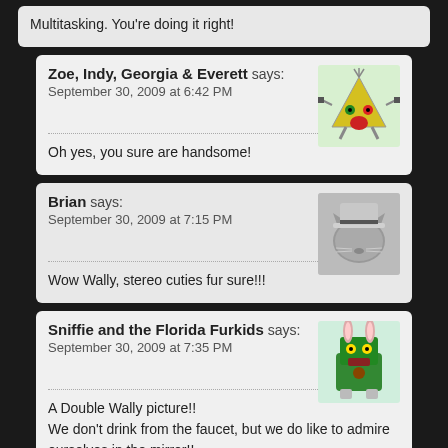Multitasking. You're doing it right!
35. Zoe, Indy, Georgia & Everett says: September 30, 2009 at 6:42 PM
Oh yes, you sure are handsome!
36. Brian says: September 30, 2009 at 7:15 PM
Wow Wally, stereo cuties fur sure!!!
37. Sniffie and the Florida Furkids says: September 30, 2009 at 7:35 PM
A Double Wally picture!!
We don't drink from the faucet, but we do like to admire ourselves in the mirror!!